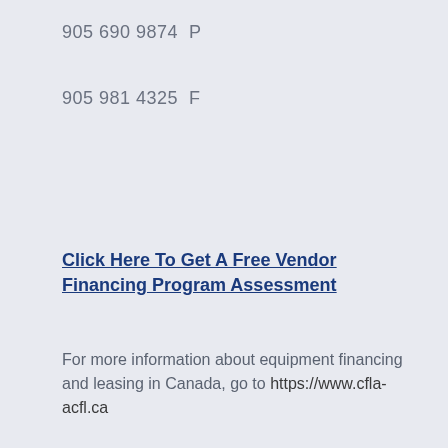905 690 9874  P
905 981 4325  F
Click Here To Get A Free Vendor Financing Program Assessment
For more information about equipment financing and leasing in Canada, go to https://www.cfla-acfl.ca